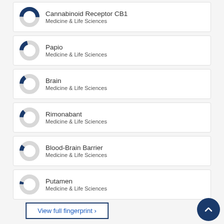[Figure (donut-chart): Donut chart showing roughly 50% fill in dark blue]
Cannabinoid Receptor CB1
Medicine & Life Sciences
[Figure (donut-chart): Donut chart showing roughly 20% fill in dark blue]
Papio
Medicine & Life Sciences
[Figure (donut-chart): Donut chart showing roughly 15% fill in dark blue]
Brain
Medicine & Life Sciences
[Figure (donut-chart): Donut chart showing roughly 13% fill in dark blue]
Rimonabant
Medicine & Life Sciences
[Figure (donut-chart): Donut chart showing roughly 10% fill in dark blue]
Blood-Brain Barrier
Medicine & Life Sciences
[Figure (donut-chart): Donut chart showing roughly 5% fill in dark blue]
Putamen
Medicine & Life Sciences
View full fingerprint ›